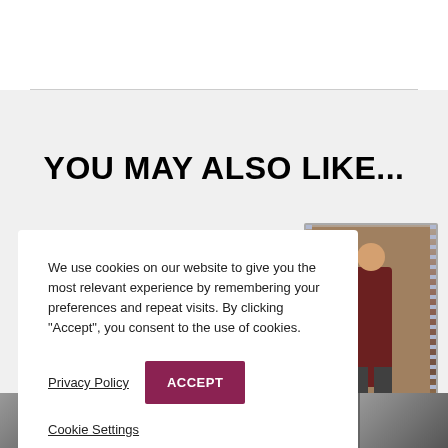YOU MAY ALSO LIKE...
We use cookies on our website to give you the most relevant experience by remembering your preferences and repeat visits. By clicking “Accept”, you consent to the use of cookies.
Privacy Policy
ACCEPT
Cookie Settings
[Figure (photo): Film strip showing a man in a dark turtleneck sweater standing with others in a colorful scene]